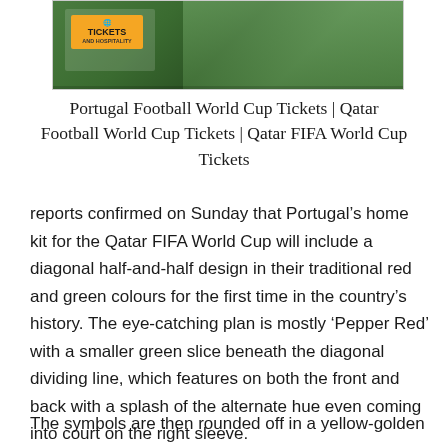[Figure (photo): A photo showing a football player in a green jersey with a Tickets and Hospitality logo/badge visible in the lower left corner. Green field background.]
Portugal Football World Cup Tickets | Qatar Football World Cup Tickets | Qatar FIFA World Cup Tickets
reports confirmed on Sunday that Portugal’s home kit for the Qatar FIFA World Cup will include a diagonal half-and-half design in their traditional red and green colours for the first time in the country’s history. The eye-catching plan is mostly ‘Pepper Red’ with a smaller green slice beneath the diagonal dividing line, which features on both the front and back with a splash of the alternate hue even coming into court on the right sleeve.
The symbols are then rounded off in a yellow-golden